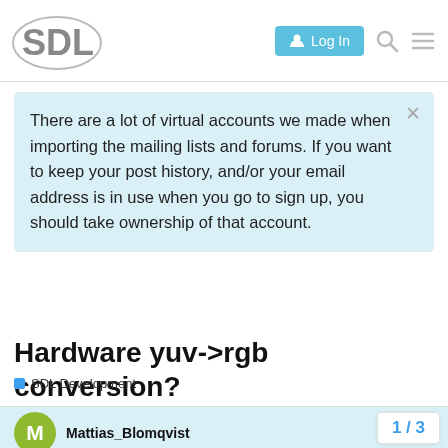SDL | Log In
There are a lot of virtual accounts we made when importing the mailing lists and forums. If you want to keep your post history, and/or your email address is in use when you go to sign up, you should take ownership of that account.
Hardware yuv->rgb conversion?
SDL Development
Mattias_Blomqvist    Mar '00
Hello

I'm currently developing a video-application for linux and sdl looks very
promising to speed up the graphics. But th
1 / 3